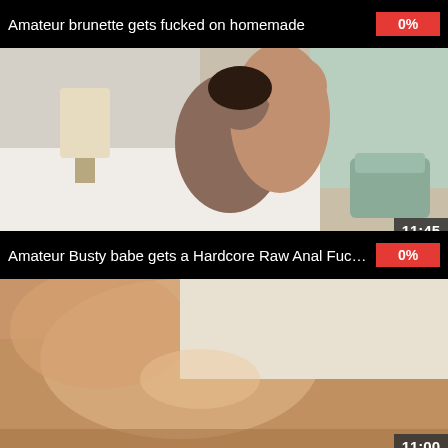Amateur brunette gets fucked on homemade  0%
[Figure (photo): Video thumbnail showing a couple in a hotel bedroom, duration 11:45]
Amateur Busty babe gets a Hardcore Raw Anal Fuck like no ...  0%
[Figure (photo): Video thumbnail showing a close-up scene, duration 11:00]